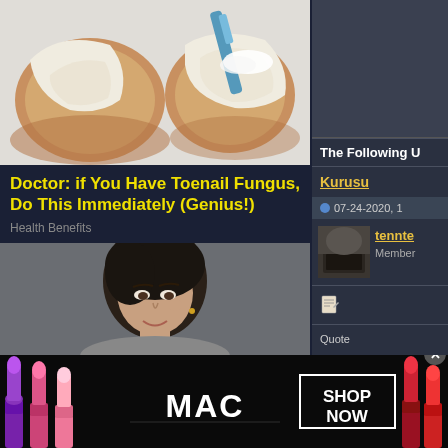[Figure (illustration): Illustrated image of toenails being treated, showing close-up of toenails with white substance applied by a blue tool]
Doctor: if You Have Toenail Fungus, Do This Immediately (Genius!)
Health Benefits
[Figure (photo): Photo of a woman with dark hair looking downward against a gray background]
The Following U
Kurusu
07-24-2020, 1
[Figure (photo): User avatar thumbnail showing dark image]
tennte
Member
[Figure (advertisement): MAC cosmetics advertisement showing lipsticks and SHOP NOW button]